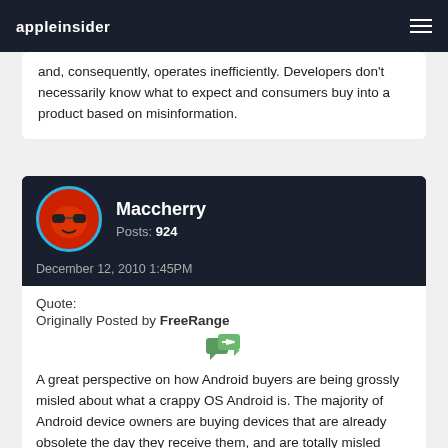appleinsider
and, consequently, operates inefficiently. Developers don't necessarily know what to expect and consumers buy into a product based on misinformation.
Maccherry
Posts: 924
December 12, 2010 1:45PM
Quote:
Originally Posted by FreeRange
[Figure (other): Quote/reply icon — two overlapping speech bubble arrows in green]
A great perspective on how Android buyers are being grossly misled about what a crappy OS Android is. The majority of Android device owners are buying devices that are already obsolete the day they receive them, and are totally misled